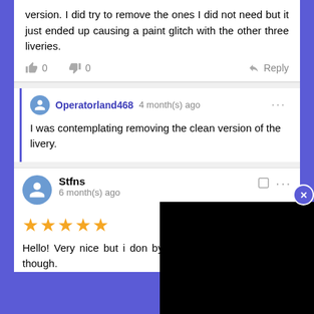version. I did try to remove the ones I did not need but it just ended up causing a paint glitch with the other three liveries.
👍 0   👎 0   ↩ Reply
Operatorland468 4 month(s) ago
I was contemplating removing the clean version of the livery.
Stfns
6 month(s) ago
★★★★★
Hello! Very nice but i don by accident but caused work though.